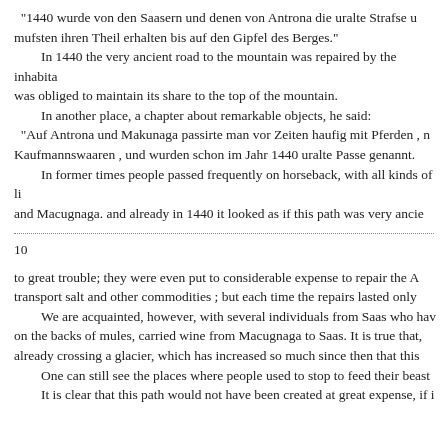"1440 wurde von den Saasern und denen von Antrona die uralte Strafse u mufsten ihren Theil erhalten bis auf den Gipfel des Berges."
   In 1440 the very ancient road to the mountain was repaired by the inhabita was obliged to maintain its share to the top of the mountain.
   In another place, a chapter about remarkable objects, he said:
"Auf Antrona und Makunaga passirte man vor Zeiten haufig mit Pferden , n Kaufmannswaaren , und wurden schon im Jahr 1440 uralte Passe genannt.
   In former times people passed frequently on horseback, with all kinds of li and Macugnaga. and already in 1440 it looked as if this path was very ancie
10
to great trouble; they were even put to considerable expense to repair the A transport salt and other commodities ; but each time the repairs lasted only
   We are acquainted, however, with several individuals from Saas who hav on the backs of mules, carried wine from Macugnaga to Saas. It is true that, already crossing a glacier, which has increased so much since then that this
   One can still see the places where people used to stop to feed their beast
   It is clear that this path would not have been created at great expense, if i